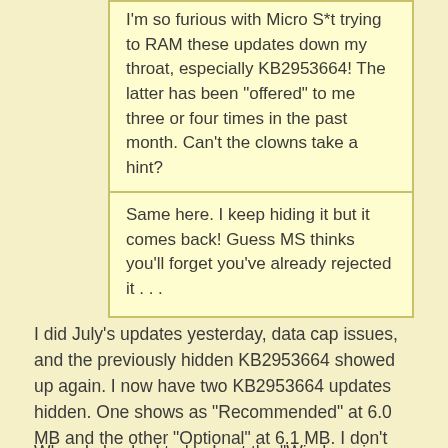I'm so furious with Micro S*t trying to RAM these updates down my throat, especially KB2953664! The latter has been "offered" to me three or four times in the past month. Can't the clowns take a hint?
Same here. I keep hiding it but it comes back! Guess MS thinks you'll forget you've already rejected it . . .
I did July's updates yesterday, data cap issues, and the previously hidden KB2953664 showed up again. I now have two KB2953664 updates hidden. One shows as "Recommended" at 6.0 MB and the other "Optional" at 6.1 MB. I don't remember which one I hid first.
When I checked today I got the "Windows is up to